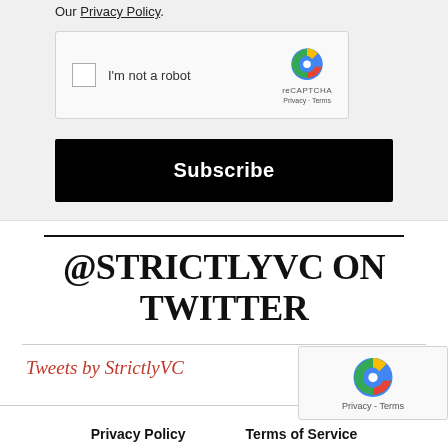Our Privacy Policy.
[Figure (other): reCAPTCHA widget with checkbox labeled 'I'm not a robot' and reCAPTCHA logo with Privacy and Terms links]
Subscribe
@STRICTLYVC ON TWITTER
Tweets by StrictlyVC
Privacy Policy   Terms of Service